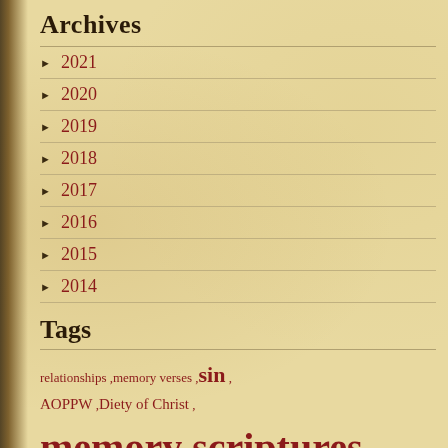Archives
2021
2020
2019
2018
2017
2016
2015
2014
Tags
relationships ,memory verses ,sin , AOPPW ,Diety of Christ , memory scriptures , EaglesWing ,hebrew ,Creation , obedience ,Business , eternal security ,scripture ,Archaeology , Baptism ,prayer ,women